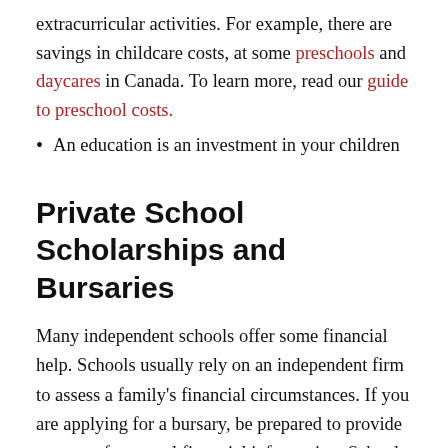extracurricular activities. For example, there are savings in childcare costs, at some preschools and daycares in Canada. To learn more, read our guide to preschool costs.
An education is an investment in your children
Private School Scholarships and Bursaries
Many independent schools offer some financial help. Schools usually rely on an independent firm to assess a family's financial circumstances. If you are applying for a bursary, be prepared to provide a range of personal financial information. Schools set their own policy and guidelines to determine how bursaries are granted; no